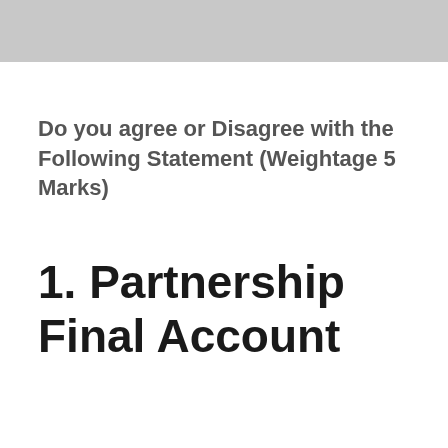Do you agree or Disagree with the Following Statement (Weightage 5 Marks)
1. Partnership Final Account